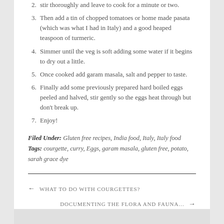stir thoroughly and leave to cook for a minute or two.
Then add a tin of chopped tomatoes or home made pasata (which was what I had in Italy) and a good heaped teaspoon of turmeric.
Simmer until the veg is soft adding some water if it begins to dry out a little.
Once cooked add garam masala, salt and pepper to taste.
Finally add some previously prepared hard boiled eggs peeled and halved, stir gently so the eggs heat through but don't break up.
Enjoy!
Filed Under: Gluten free recipes, India food, Italy, Italy food
Tags: courgette, curry, Eggs, garam masala, gluten free, potato, sarah grace dye
← WHAT TO DO WITH COURGETTES?
DOCUMENTING THE FLORA AND FAUNA… →